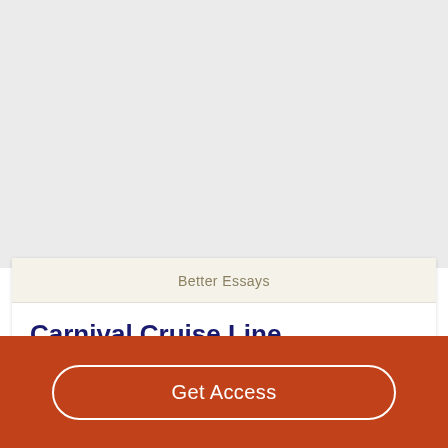[Figure (other): Gray background area filling the top portion of the page]
Better Essays
Carnival Cruise Line
Get Access